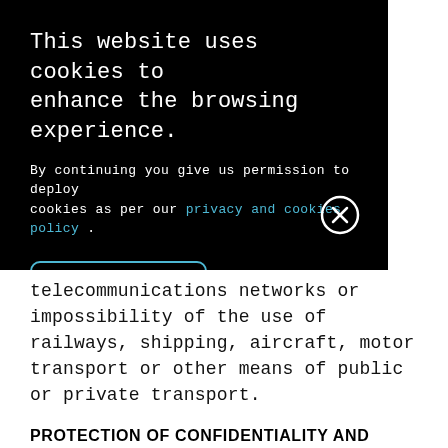This website uses cookies to enhance the browsing experience.
By continuing you give us permission to deploy cookies as per our privacy and cookies policy .
Accept
telecommunications networks or impossibility of the use of railways, shipping, aircraft, motor transport or other means of public or private transport.
PROTECTION OF CONFIDENTIALITY AND INTELLECTUAL PROPERTY RIGHTS